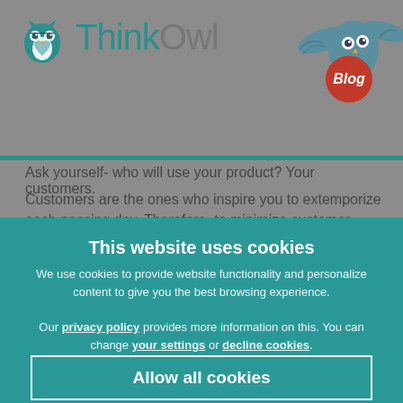[Figure (logo): ThinkOwl logo with teal owl icon on the left and 'ThinkOwl' text in gray, plus a decorative owl illustration with a 'Blog' badge in the top right corner]
Ask yourself- who will use your product? Your customers.
Customers are the ones who inspire you to extemporize each passing day. Therefore, to minimize customer efforts and
This website uses cookies
We use cookies to provide website functionality and personalize content to give you the best browsing experience.
Our privacy policy provides more information on this. You can change your settings or decline cookies.
Allow all cookies